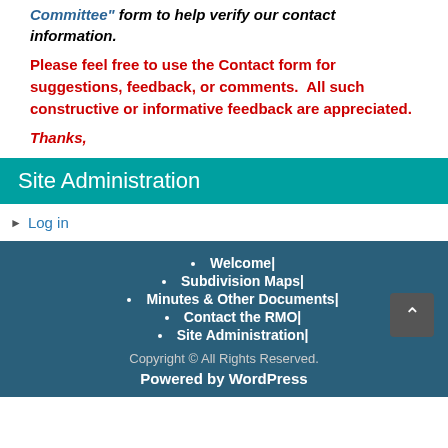Committee" form to help verify our contact information.
Please feel free to use the Contact form for suggestions, feedback, or comments.  All such constructive or informative feedback are appreciated.
Thanks,
Site Administration
Log in
Welcome|
Subdivision Maps|
Minutes & Other Documents|
Contact the RMO|
Site Administration|
Copyright © All Rights Reserved.
Powered by WordPress